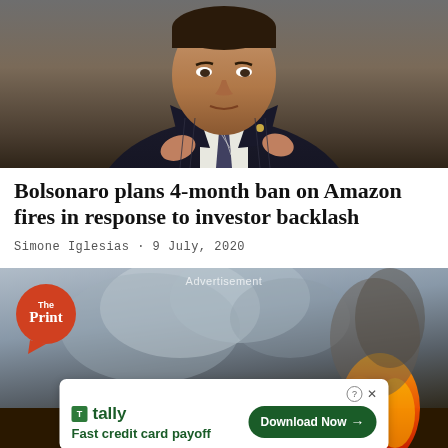[Figure (photo): Man in dark pinstripe suit and striped tie, adjusting his tie, portrait shot against dark background]
Bolsonaro plans 4-month ban on Amazon fires in response to investor backlash
Simone Iglesias · 9 July, 2020
[Figure (photo): Amazon forest fire with heavy smoke billowing upward and orange flames visible on the right, with The Print logo overlay and a Tally advertisement banner at the bottom]